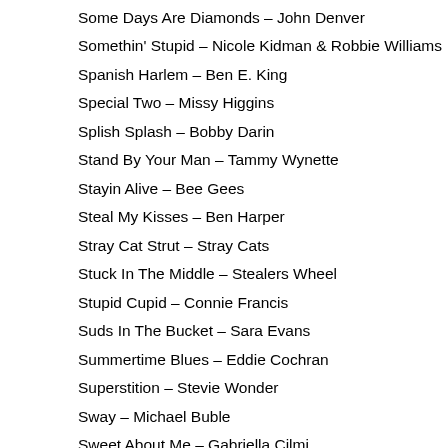Some Days Are Diamonds – John Denver
Somethin' Stupid – Nicole Kidman & Robbie Williams
Spanish Harlem – Ben E. King
Special Two – Missy Higgins
Splish Splash – Bobby Darin
Stand By Your Man – Tammy Wynette
Stayin Alive – Bee Gees
Steal My Kisses – Ben Harper
Stray Cat Strut – Stray Cats
Stuck In The Middle – Stealers Wheel
Stupid Cupid – Connie Francis
Suds In The Bucket – Sara Evans
Summertime Blues – Eddie Cochran
Superstition – Stevie Wonder
Sway – Michael Buble
Sweet About Me – Gabriella Cilmi
Sweet Caroline – Neil Diamond
Sweet Child Of Mine – Guns N Roses
Sweet Home Alabama – Lynard Skynard
Tainted Love – Soft Cell